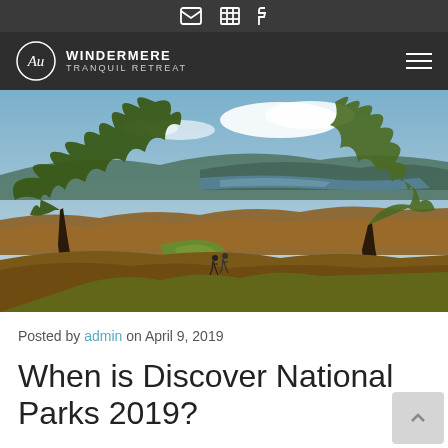Windermere Tranquil Retreat
[Figure (photo): Scenic landscape photograph of the Lake District / Windermere area showing oak trees in autumn colours with bracken, a grassy path with hikers, and a lake with hills in the background under a partly cloudy blue sky.]
Posted by admin on April 9, 2019
When is Discover National Parks 2019?